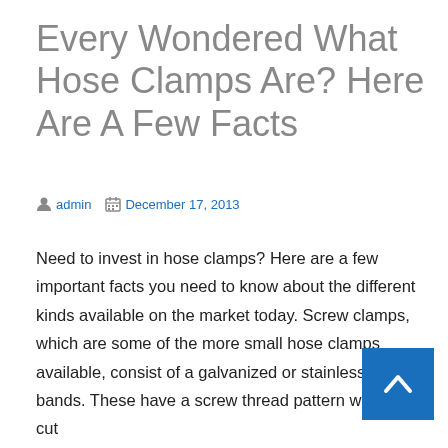Every Wondered What Hose Clamps Are? Here Are A Few Facts
admin  December 17, 2013
Need to invest in hose clamps? Here are a few important facts you need to know about the different kinds available on the market today. Screw clamps, which are some of the more small hose clamps available, consist of a galvanized or stainless steel bands. These have a screw thread pattern which has cut
[Figure (other): Blue back-to-top button with upward chevron arrow in bottom right corner]